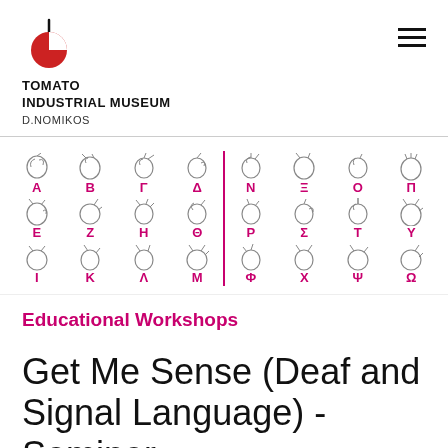TOMATO INDUSTRIAL MUSEUM D.NOMIKOS
[Figure (illustration): Grid of Greek alphabet letters with corresponding hand sign language gestures, arranged in 3 rows of 8 columns with a vertical pink dividing line in the middle. Row 1: Α, Β, Γ, Δ, Ν, Ξ, Ο, Π. Row 2: Ε, Ζ, Η, Θ, Ρ, Σ, Τ, Υ. Row 3: Ι, Κ, Λ, Μ, Φ, Χ, Ψ, Ω.]
Educational Workshops
Get Me Sense (Deaf and Signal Language) - Seminar